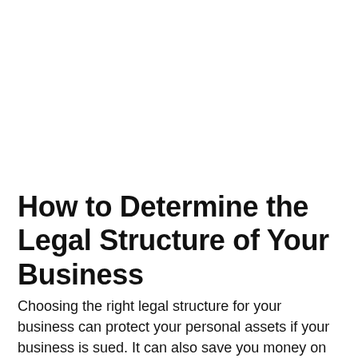How to Determine the Legal Structure of Your Business
Choosing the right legal structure for your business can protect your personal assets if your business is sued. It can also save you money on your taxes and help you attract investors.
Let's look at some of the possible options for structuring your company.